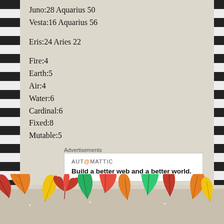Juno:28 Aquarius 50
Vesta:16 Aquarius 56
Eris:24 Aries 22
Fire:4
Earth:5
Air:4
Water:6
Cardinal:6
Fixed:8
Mutable:5
Advertisements
AUT@MATTIC
Build a better web and a better world.
[Figure (illustration): Decorative autumn leaves border at the bottom of the page with orange, red, yellow, and green maple leaves.]